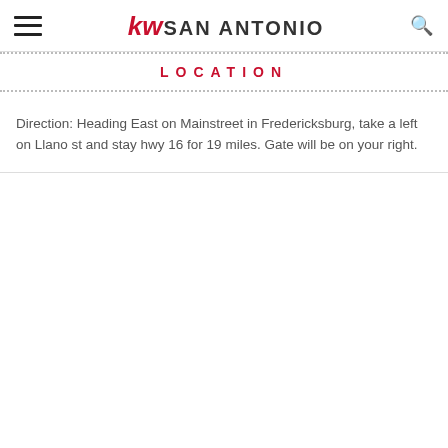KW SAN ANTONIO
LOCATION
Direction: Heading East on Mainstreet in Fredericksburg, take a left on Llano st and stay hwy 16 for 19 miles. Gate will be on your right.
[Figure (map): Blank white map area below the directions text]